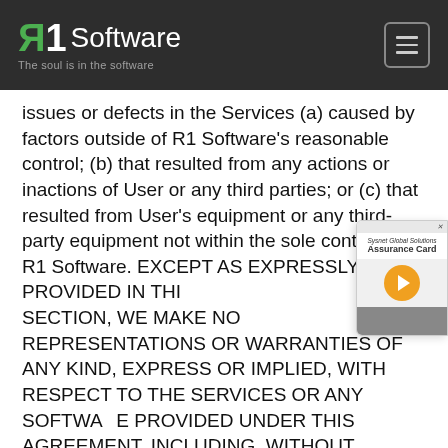R1Software — The soul is in the software
issues or defects in the Services (a) caused by factors outside of R1 Software's reasonable control; (b) that resulted from any actions or inactions of User or any third parties; or (c) that resulted from User's equipment or any third-party equipment not within the sole control of R1 Software. EXCEPT AS EXPRESSLY PROVIDED IN THIS SECTION, WE MAKE NO REPRESENTATIONS OR WARRANTIES OF ANY KIND, EXPRESS OR IMPLIED, WITH RESPECT TO THE SERVICES OR ANY SOFTWARE PROVIDED UNDER THIS AGREEMENT, INCLUDING, WITHOUT LIMITATION, ANY WARRANTY OF MERCHANTABILITY, FITNESS FOR A PARTICULAR PURPOSE, TITLE OR NON-INFRINGEMENT OF THIRD-PARTY RIGHTS, AND WE HEREBY EXPRESSLY DISCLAIM THE SAME. WITHOUT LIMITING THE FOREGOING, ANY THIRD-PARTY PRODUCT OR SERVICE PROVIDED TO USER HEREUNDER IS PROVIDED "AS IS" WITHOUT ANY CONDITION OR WARRANTY WHATSOEVER. WE DO NOT WARRANT THAT THE SERVICES WILL BE